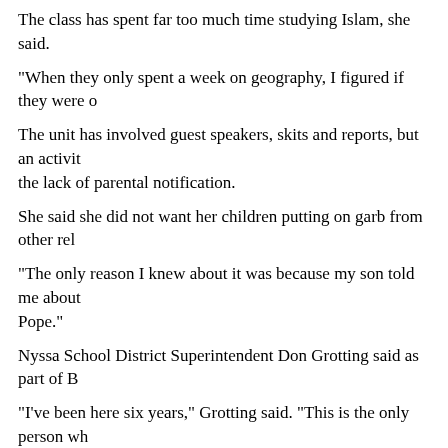The class has spent far too much time studying Islam, she said.
"When they only spent a week on geography, I figured if they were o
The unit has involved guest speakers, skits and reports, but an activit the lack of parental notification.
She said she did not want her children putting on garb from other rel
"The only reason I knew about it was because my son told me about Pope."
Nyssa School District Superintendent Don Grotting said as part of Be
"I've been here six years," Grotting said. "This is the only person wh
-----
CA: PROJECT LETS MUSLIM, CHRISTIAN AND JEWISH STUD
Alejandra Molina, Orange County Register, 10/3/06
http://www.ocregister.com/ocregister/news/homepage/article_12951
In a society where religious differences can be sensitive, sometimes a